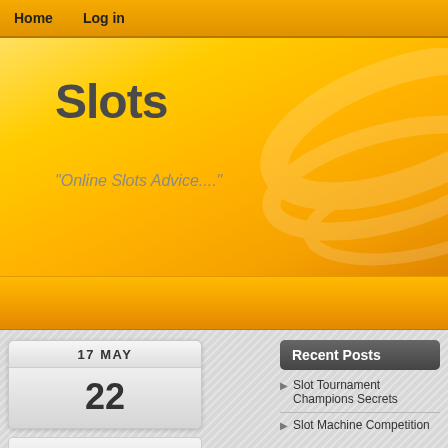Home  Log in
Slots
"Online Slots Advice...."
[Figure (screenshot): Yellow/orange gradient hero banner with decorative swoosh lines]
Recent Posts
Slot Tournament Champions Secrets
Slot Machine Competition